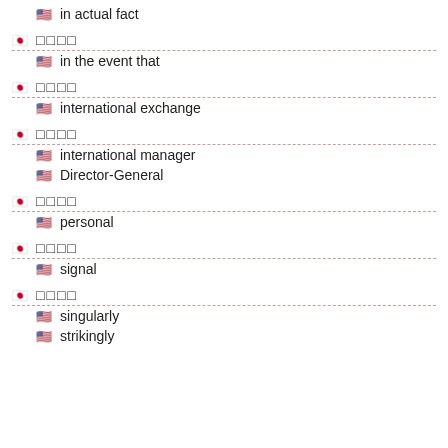in actual fact
□□□□ / in the event that
□□□□ / international exchange
□□□□ / international manager / Director-General
□□□□ / personal
□□□□ / signal
□□□□ / singularly / strikingly